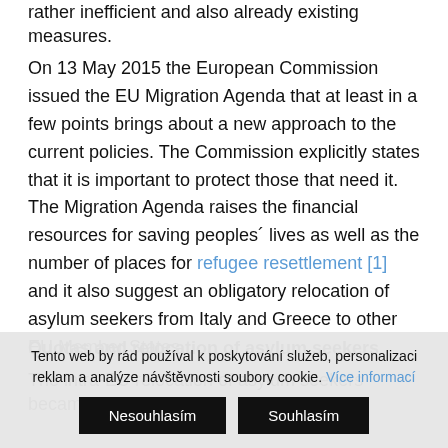rather inefficient and also already existing measures.
On 13 May 2015 the European Commission issued the EU Migration Agenda that at least in a few points brings about a new approach to the current policies. The Commission explicitly states that it is important to protect those that need it. The Migration Agenda raises the financial resources for saving peoples´ lives as well as the number of places for refugee resettlement [1] and it also suggest an obligatory relocation of asylum seekers from Italy and Greece to other EU Member States.
Quotas and relocation of asylum seekers
The intra-EU relocation of asylum seekers became very
Tento web by rád používal k poskytování služeb, personalizaci reklam a analýze návštěvnosti soubory cookie. Více informací
Nesouhlasím
Souhlasím